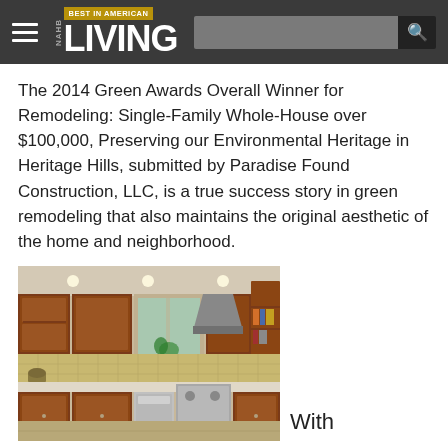NAHB LIVING BEST IN AMERICAN
The 2014 Green Awards Overall Winner for Remodeling: Single-Family Whole-House over $100,000, Preserving our Environmental Heritage in Heritage Hills, submitted by Paradise Found Construction, LLC, is a true success story in green remodeling that also maintains the original aesthetic of the home and neighborhood.
[Figure (photo): Interior photo of a remodeled kitchen with cherry wood cabinets, granite countertops, stainless steel appliances, and tile backsplash. A window is centered over the sink area with natural light.]
With